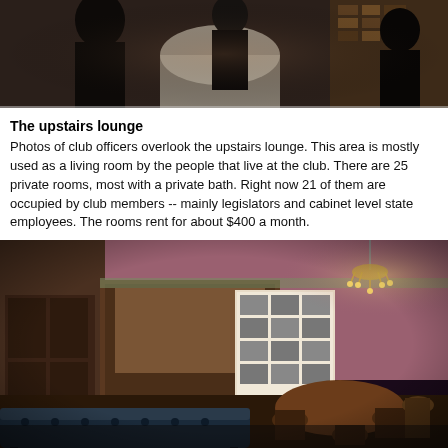[Figure (photo): Top portion of a photo showing the interior of the upstairs lounge area with dark figures/people visible]
The upstairs lounge
Photos of club officers overlook the upstairs lounge. This area is mostly used as a living room by the people that live at the club. There are 25 private rooms, most with a private bath. Right now 21 of them are occupied by club members -- mainly legislators and cabinet level state employees. The rooms rent for about $400 a month.
[Figure (photo): Interior photo of the upstairs lounge showing dark wood paneling, framed photos of club officers on an illuminated display wall, a chandelier with candle-style lights, pink/mauve walls with a decorative border, a round wooden table with chairs, and a blue tufted leather sofa/bench in the foreground]